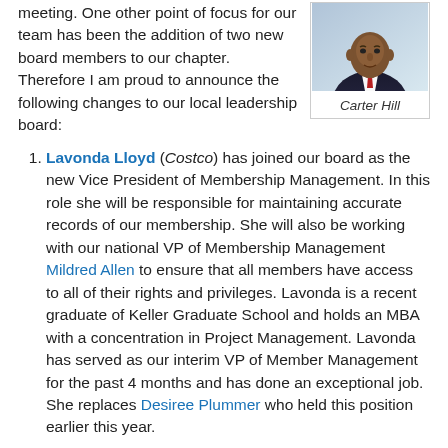meeting. One other point of focus for our team has been the addition of two new board members to our chapter. Therefore I am proud to announce the following changes to our local leadership board:
[Figure (photo): Portrait photo of Carter Hill, a man in a suit with a red tie, with caption 'Carter Hill' in italics below.]
Lavonda Lloyd (Costco) has joined our board as the new Vice President of Membership Management. In this role she will be responsible for maintaining accurate records of our membership. She will also be working with our national VP of Membership Management Mildred Allen to ensure that all members have access to all of their rights and privileges. Lavonda is a recent graduate of Keller Graduate School and holds an MBA with a concentration in Project Management. Lavonda has served as our interim VP of Member Management for the past 4 months and has done an exceptional job. She replaces Desiree Plummer who held this position earlier this year.
Phyllis Ferguson (Strategic Perfection) has joined our board as our new Vice President of Public Relations &